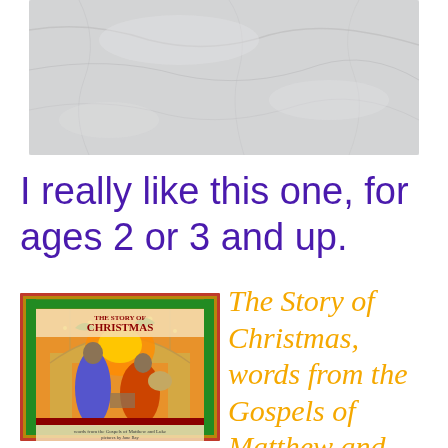[Figure (photo): A light gray/white marble or stone textured background image at the top of the page.]
I really like this one, for ages 2 or 3 and up.
[Figure (photo): Book cover of 'The Story of Christmas' showing a nativity scene illustration with words from the Gospels of Matthew and Luke, illustrated by Jane Ray. The cover features two figures in an archway with ornate decorative border.]
The Story of Christmas, words from the Gospels of Matthew and Luke, illustrations